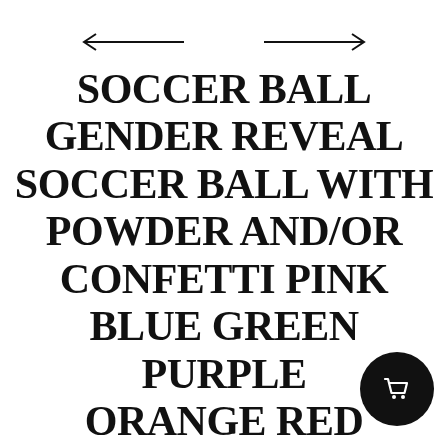[Figure (other): Navigation arrows: left-pointing arrow on the left, right-pointing arrow on the right]
SOCCER BALL GENDER REVEAL SOCCER BALL WITH POWDER AND/OR CONFETTI PINK BLUE GREEN PURPLE ORANGE RED YELLOW OR WHITE
$11.16 $15.95
Calculate Shipping
[Figure (other): Black circular cart/shopping button with white shopping cart icon]